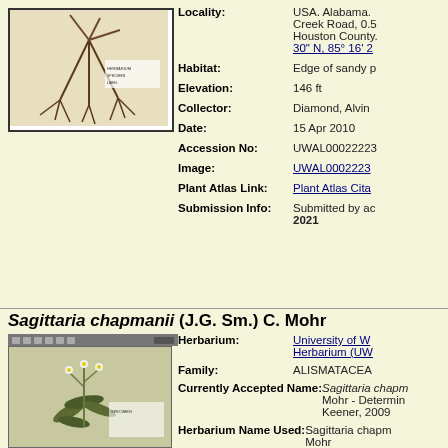[Figure (photo): Herbarium specimen photo of a plant with roots, mounted on white paper]
Locality: USA. Alabama. Creek Road, 0.5... Houston County. 30" N, 85° 16' 2...
Habitat: Edge of sandy p...
Elevation: 146 ft
Collector: Diamond, Alvin...
Date: 15 Apr 2010
Accession No: UWAL00022223...
Image: UWAL0002223...
Plant Atlas Link: Plant Atlas Cita...
Submission Info: Submitted by ac... 2021
Sagittaria chapmanii (J.G. Sm.) C. Mohr
[Figure (photo): Herbarium specimen photo of Sagittaria chapmanii plant with leaves and flowers mounted on paper]
Herbarium: University of W... Herbarium (UW...
Family: ALISMATACEA...
Currently Accepted Name: Sagittaria chapm... Mohr - Determin... Keener, 2009
Herbarium Name Used: Sagittaria chapm... Mohr